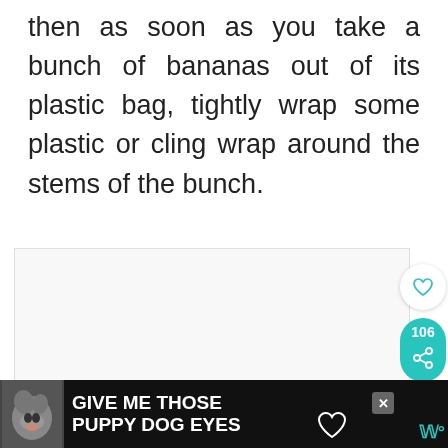then as soon as you take a bunch of bananas out of its plastic bag, tightly wrap some plastic or cling wrap around the stems of the bunch.
[Figure (photo): White/light gray image area (content not visible), with social sidebar showing heart icon, share count 106, and teal share button. A 'What's Next' card shows carrots image and text 'How to store carrots in 3...']
[Figure (screenshot): Dark advertisement banner at bottom reading 'GIVE ME THOSE PUPPY DOG EYES' with dog image on left, heart graphic, close button X, and teal brand logo on right.]